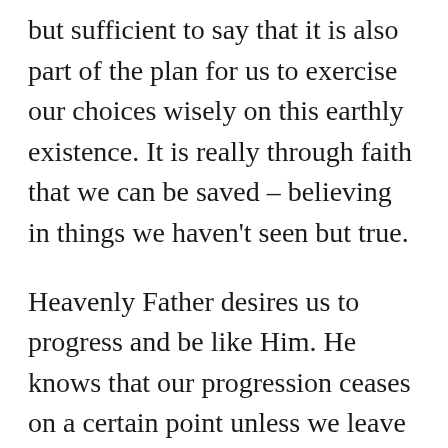but sufficient to say that it is also part of the plan for us to exercise our choices wisely on this earthly existence. It is really through faith that we can be saved – believing in things we haven't seen but true.
Heavenly Father desires us to progress and be like Him. He knows that our progression ceases on a certain point unless we leave Him to exercise our trust in Him so, He gave us a home and our spirits a physical temple. One of our guides in this life is through the words written in many scriptures like the Bible and Book of Mormon. A proclamation, through Christ's appointed leaders in the Church, was recently